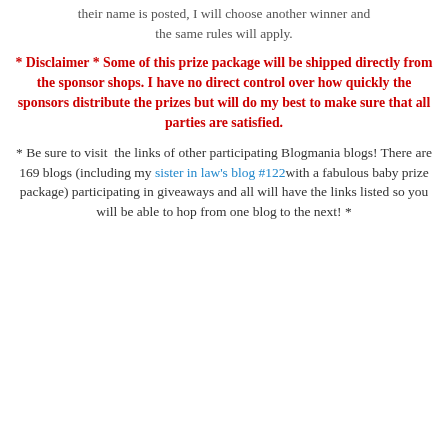their name is posted, I will choose another winner and the same rules will apply.
* Disclaimer * Some of this prize package will be shipped directly from the sponsor shops. I have no direct control over how quickly the sponsors distribute the prizes but will do my best to make sure that all parties are satisfied.
* Be sure to visit  the links of other participating Blogmania blogs! There are 169 blogs (including my sister in law's blog #122with a fabulous baby prize package) participating in giveaways and all will have the links listed so you will be able to hop from one blog to the next! *